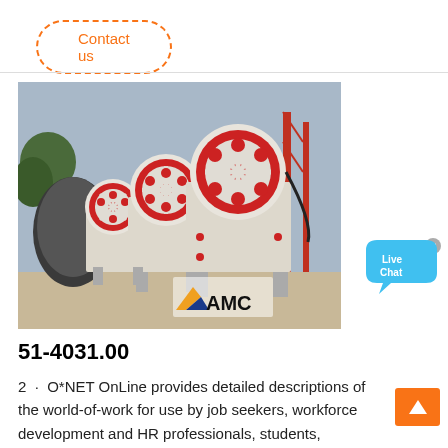Contact us
[Figure (photo): Industrial jaw crusher machines (three units) with large red flywheels, beige/cream colored bodies, mounted on steel frames in an outdoor industrial yard. AMC logo visible in lower right of photo.]
[Figure (illustration): Live Chat speech bubble icon in blue/cyan color with 'Live Chat' text and an X close button.]
51-4031.00
2 · O*NET OnLine provides detailed descriptions of the world-of-work for use by job seekers, workforce development and HR professionals, students, developers, researchers, and more. Individuals can find, search, or